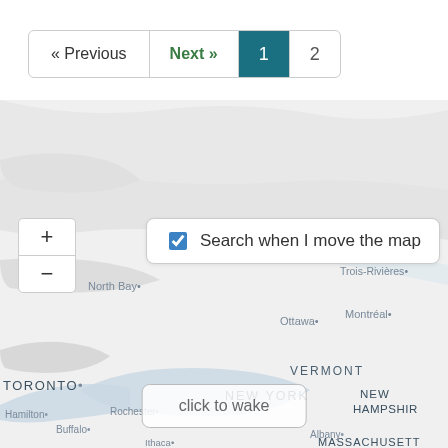[Figure (screenshot): Pagination bar with Previous, Next, page 1 (active, teal background), page 2 buttons]
[Figure (map): Interactive map showing eastern Canada and northeastern US including Toronto, Ottawa, Montreal, Quebec, Trois-Rivières, North Bay, Rochester, Buffalo, Vermont, New York, New Hampshire, Massachusetts. Map has zoom controls (+/-) and a 'Search when I move the map' checkbox overlay. A 'click to wake' button appears at the bottom center.]